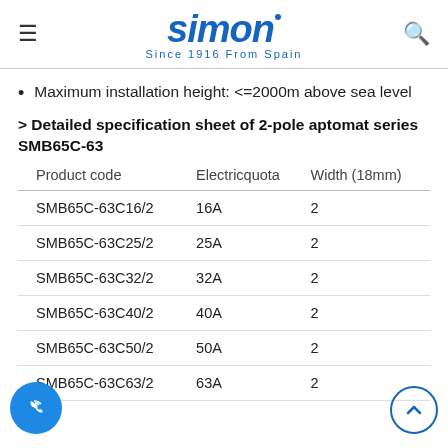simon — Since 1916 From Spain
Maximum installation height: <=2000m above sea level
> Detailed specification sheet of 2-pole aptomat series SMB65C-63
| Product code | Electricquota | Width (18mm) |
| --- | --- | --- |
| SMB65C-63C16/2 | 16A | 2 |
| SMB65C-63C25/2 | 25A | 2 |
| SMB65C-63C32/2 | 32A | 2 |
| SMB65C-63C40/2 | 40A | 2 |
| SMB65C-63C50/2 | 50A | 2 |
| SMB65C-63C63/2 | 63A | 2 |